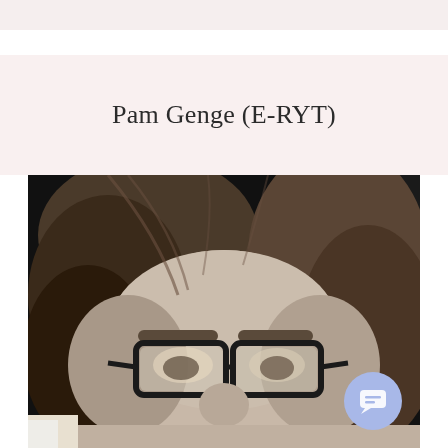Pam Genge (E-RYT)
[Figure (photo): Black and white close-up photo of a woman with long hair and dark-framed glasses, looking slightly downward toward the camera.]